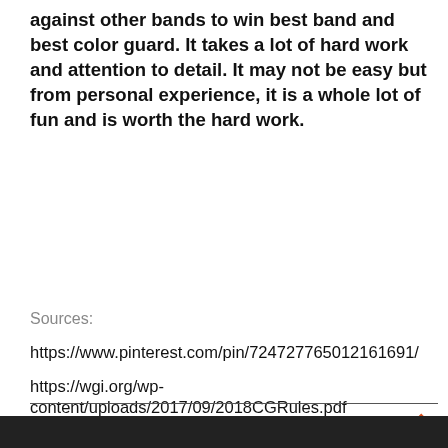against other bands to win best band and best color guard. It takes a lot of hard work and attention to detail. It may not be easy but from personal experience, it is a whole lot of fun and is worth the hard work.
Sources:
https://www.pinterest.com/pin/724727765012161691/
https://wgi.org/wp-content/uploads/2017/09/2018CGRules.pdf